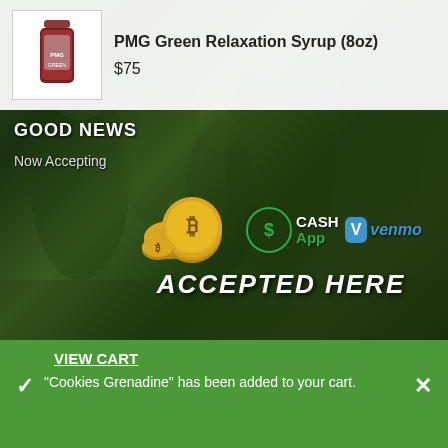[Figure (photo): Bottle of PMG Green Relaxation Syrup (8oz) product photo]
PMG Green Relaxation Syrup (8oz)
$75
[Figure (photo): Dark green cannabis plant background photo]
GOOD NEWS
Now Accepting
[Figure (infographic): Bitcoin coins, Cash App logo (green circle with dollar sign), Venmo logo (blue square with V). Text: ACCEPTED HERE]
VIEW CART
"Cookies Grenadine" has been added to your cart.